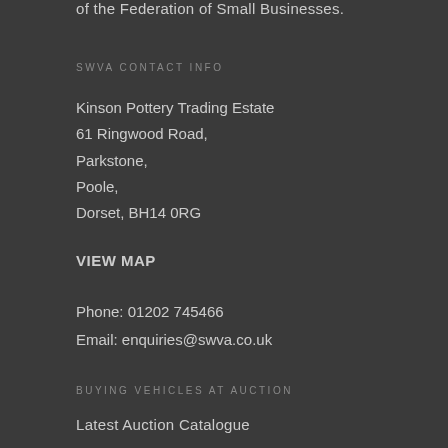of the Federation of Small Businesses.
SWVA CONTACT INFO
Kinson Pottery Trading Estate
61 Ringwood Road,
Parkstone,
Poole,
Dorset, BH14 0RG
VIEW MAP
Phone: 01202 745466
Email: enquiries@swva.co.uk
BUYING VEHICLES AT AUCTION
Latest Auction Catalogue